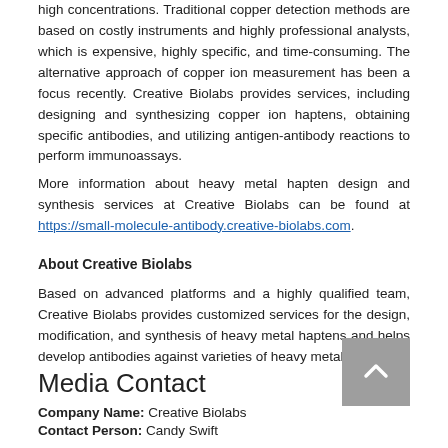high concentrations. Traditional copper detection methods are based on costly instruments and highly professional analysts, which is expensive, highly specific, and time-consuming. The alternative approach of copper ion measurement has been a focus recently. Creative Biolabs provides services, including designing and synthesizing copper ion haptens, obtaining specific antibodies, and utilizing antigen-antibody reactions to perform immunoassays.
More information about heavy metal hapten design and synthesis services at Creative Biolabs can be found at https://small-molecule-antibody.creative-biolabs.com.
About Creative Biolabs
Based on advanced platforms and a highly qualified team, Creative Biolabs provides customized services for the design, modification, and synthesis of heavy metal haptens and helps develop antibodies against varieties of heavy metals.
Media Contact
Company Name: Creative Biolabs
Contact Person: Candy Swift
Email: Send Email
Phone: 1-631-830-6441